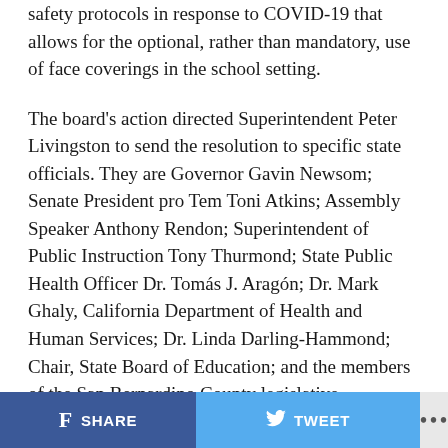safety protocols in response to COVID-19 that allows for the optional, rather than mandatory, use of face coverings in the school setting.
The board's action directed Superintendent Peter Livingston to send the resolution to specific state officials. They are Governor Gavin Newsom; Senate President pro Tem Toni Atkins; Assembly Speaker Anthony Rendon; Superintendent of Public Instruction Tony Thurmond; State Public Health Officer Dr. Tomás J. Aragón; Dr. Mark Ghaly, California Department of Health and Human Services; Dr. Linda Darling-Hammond; Chair, State Board of Education; and the members of the San Bernardino County legislative delegation.
Dr. Aragón issued an order on June 15 requiring all individuals continue to follow the requirements in the
SHARE   TWEET   ...